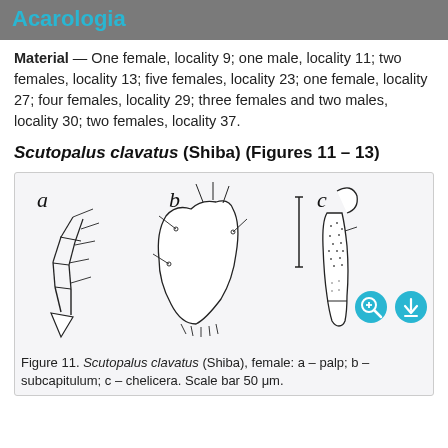Acarologia
Material — One female, locality 9; one male, locality 11; two females, locality 13; five females, locality 23; one female, locality 27; four females, locality 29; three females and two males, locality 30; two females, locality 37.
Scutopalus clavatus (Shiba) (Figures 11 – 13)
[Figure (illustration): Scientific illustration showing three labeled parts (a, b, c) of Scutopalus clavatus female: a – palp; b – subcapitulum; c – chelicera. Scale bar shown. Two interactive icons (zoom and download) visible in bottom right of figure area.]
Figure 11. Scutopalus clavatus (Shiba), female: a – palp; b – subcapitulum; c – chelicera. Scale bar 50 μm.